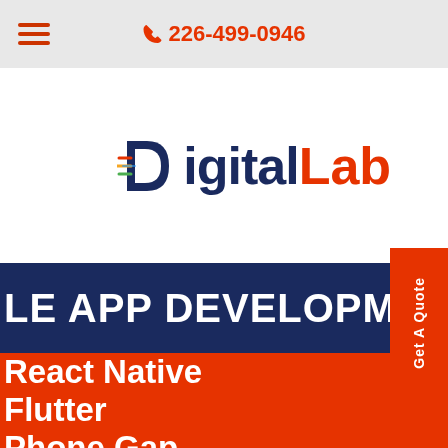226-499-0946
[Figure (logo): DigitalLab logo with stylized D icon showing speed lines in red, blue, yellow, green. 'Digital' in dark navy, 'Lab' in orange-red.]
LE APP DEVELOPMENT
Get A Quote
React Native
Flutter
Phone Gap
Xamarin
Appcelerator